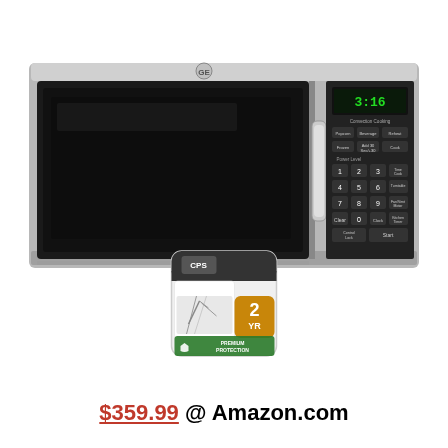[Figure (photo): GE over-the-range stainless steel microwave oven with black door and digital control panel showing 3:16, bundled with a CPS 2YR Premium Protection warranty package]
$359.99 @ Amazon.com